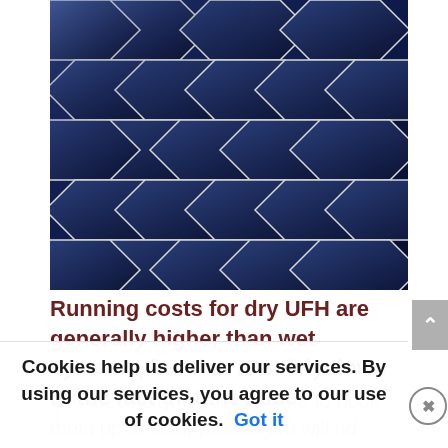[Figure (photo): Close-up photograph of solar panel cells showing dark blue photovoltaic cells with white grid lines in a geometric pattern]
Running costs for dry UFH are generally higher than wet systems, but that is solely down to the fact that they use
grid electricity. If you are able to hook them up to solar panels you will rid yourself of those charges altogether,
Cookies help us deliver our services. By using our services, you agree to our use of cookies.  Got it